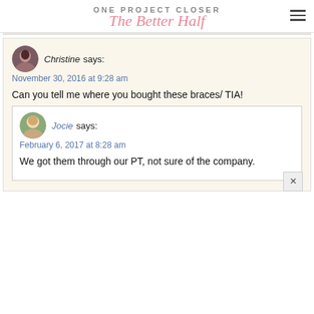ONE PROJECT CLOSER
The Better Half
Christine says:
November 30, 2016 at 9:28 am
Can you tell me where you bought these braces/ TIA!
Jocie says:
February 6, 2017 at 8:28 am
We got them through our PT, not sure of the company.